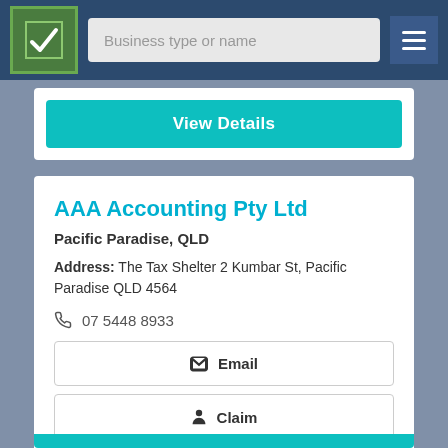Business type or name
View Details
AAA Accounting Pty Ltd
Pacific Paradise, QLD
Address: The Tax Shelter 2 Kumbar St, Pacific Paradise QLD 4564
07 5448 8933
Email
Claim
Call Now